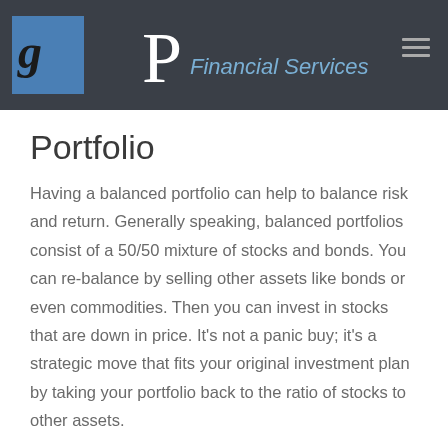GP Financial Services
Portfolio
Having a balanced portfolio can help to balance risk and return. Generally speaking, balanced portfolios consist of a 50/50 mixture of stocks and bonds. You can re-balance by selling other assets like bonds or even commodities. Then you can invest in stocks that are down in price. It’s not a panic buy; it’s a strategic move that fits your original investment plan by taking your portfolio back to the ratio of stocks to other assets.